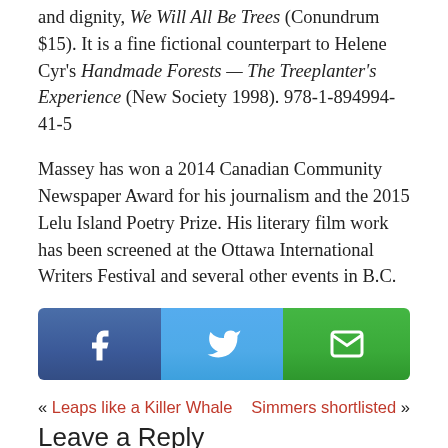and dignity, We Will All Be Trees (Conundrum $15). It is a fine fictional counterpart to Helene Cyr's Handmade Forests — The Treeplanter's Experience (New Society 1998). 978-1-894994-41-5
Massey has won a 2014 Canadian Community Newspaper Award for his journalism and the 2015 Lelu Island Poetry Prize. His literary film work has been screened at the Ottawa International Writers Festival and several other events in B.C.
[Figure (other): Social sharing buttons: Facebook (blue), Twitter (light blue), Email (green)]
« Leaps like a Killer Whale   Simmers shortlisted »
Leave a Reply
Your email address will not be published. Required fields are marked *
Comment *
(comment text area)